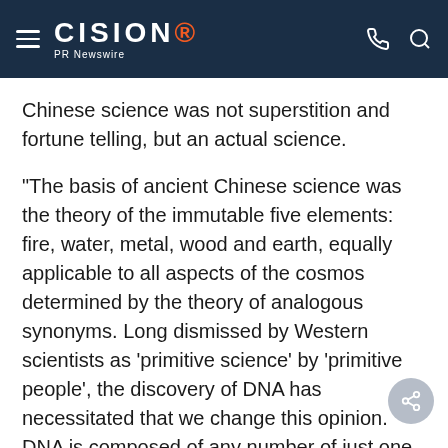CISION PR Newswire
Chinese science was not superstition and fortune telling, but an actual science.
"The basis of ancient Chinese science was the theory of the immutable five elements: fire, water, metal, wood and earth, equally applicable to all aspects of the cosmos determined by the theory of analogous synonyms. Long dismissed by Western scientists as 'primitive science' by 'primitive people', the discovery of DNA has necessitated that we change this opinion. DNA is composed of any number of just one single molecule composed of only five elements; carbon, oxygen, hydrogen, nitrogen and phosphorous. Ev… living th… …thing…nt i… …d of the fi…